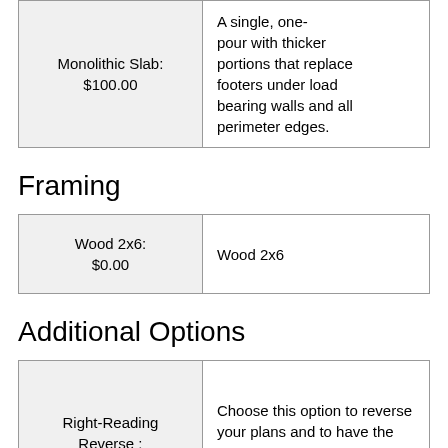| Monolithic Slab:
$100.00 | A single, one-pour with thicker portions that replace footers under load bearing walls and all perimeter edges. |
Framing
| Wood 2x6:
$0.00 | Wood 2x6 |
Additional Options
| Right-Reading Reverse :
$125.00 | Choose this option to reverse your plans and to have the text and dimensions readable. |
| Audio Video Package | Receive an overlay sheet with suggested |